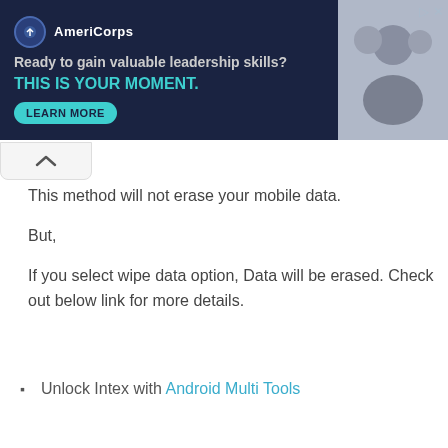[Figure (screenshot): AmeriCorps advertisement banner with dark navy background. Logo with circular icon and 'AmeriCorps' text. Tagline: 'Ready to gain valuable leadership skills?' Slogan in teal: 'THIS IS YOUR MOMENT.' with a 'LEARN MORE' teal button. Photo of people on the right side.]
This method will not erase your mobile data.
But,
If you select wipe data option, Data will be erased. Check out below link for more details.
Unlock Intex with Android Multi Tools